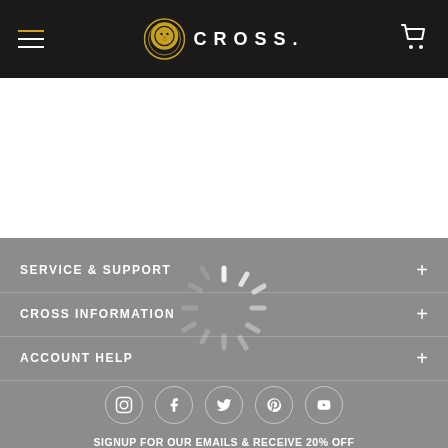CROSS. (navigation header with hamburger menu, logo, and cart icon)
[Figure (other): Loading spinner (circular activity indicator) overlaid on gray background]
SERVICE & SUPPORT +
CROSS INFORMATION +
ACCOUNT HELP +
[Figure (other): Social media icons row: Instagram, Facebook, Twitter, Pinterest, YouTube]
SIGNUP FOR OUR EMAILS & RECEIVE 20% OFF
Your Email Has Been Added!